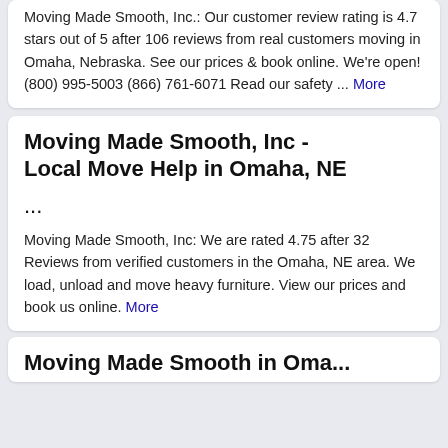Moving Made Smooth, Inc.: Our customer review rating is 4.7 stars out of 5 after 106 reviews from real customers moving in Omaha, Nebraska. See our prices & book online. We're open! (800) 995-5003 (866) 761-6071 Read our safety ... More
Moving Made Smooth, Inc - Local Move Help in Omaha, NE
...
Moving Made Smooth, Inc: We are rated 4.75 after 32 Reviews from verified customers in the Omaha, NE area. We load, unload and move heavy furniture. View our prices and book us online. More
Moving Made Smooth in Omaha...